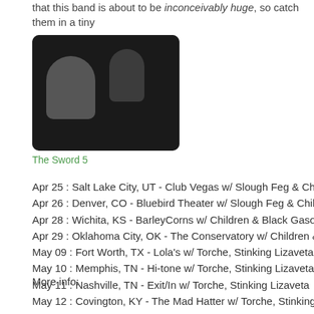that this band is about to be inconceivably huge, so catch them in a tiny
[Figure (photo): Dark concert photo showing performers on stage, black background with figures visible]
The Sword 5
Apr 25 : Salt Lake City, UT - Club Vegas w/ Slough Feg & Children
Apr 26 : Denver, CO - Bluebird Theater w/ Slough Feg & Children
Apr 28 : Wichita, KS - BarleyCorns w/ Children & Black Gasoline
Apr 29 : Oklahoma City, OK - The Conservatory w/ Children & Those
May 09 : Fort Worth, TX - Lola's w/ Torche, Stinking Lizaveta
May 10 : Memphis, TN - Hi-tone w/ Torche, Stinking Lizaveta
May 11 : Nashville, TN - Exit/In w/ Torche, Stinking Lizaveta
May 12 : Covington, KY - The Mad Hatter w/ Torche, Stinking Lizaveta
More info: